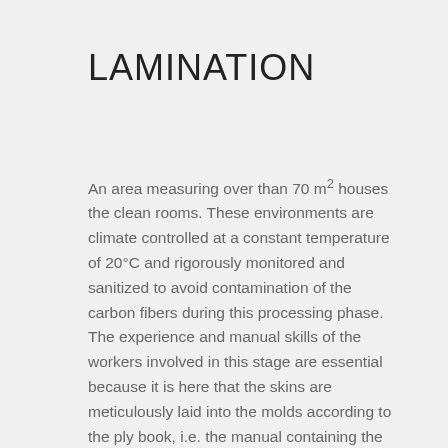LAMINATION
An area measuring over than 70 m² houses the clean rooms. These environments are climate controlled at a constant temperature of 20°C and rigorously monitored and sanitized to avoid contamination of the carbon fibers during this processing phase. The experience and manual skills of the workers involved in this stage are essential because it is here that the skins are meticulously laid into the molds according to the ply book, i.e. the manual containing the details for laying out the fiber weaves and obtaining maximum resistance while remaining within the weight